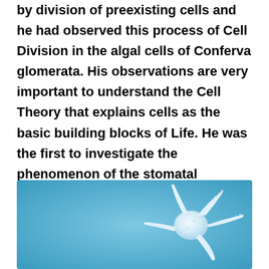by division of preexisting cells and he had observed this process of Cell Division in the algal cells of Conferva glomerata. His observations are very important to understand the Cell Theory that explains cells as the basic building blocks of Life. He was the first to investigate the phenomenon of the stomatal openings in leaves.
[Figure (photo): A microscopic blue-background photograph showing a white/translucent cell-like organism or algal cell with branching appendages, resembling a starfish shape against a blue background.]